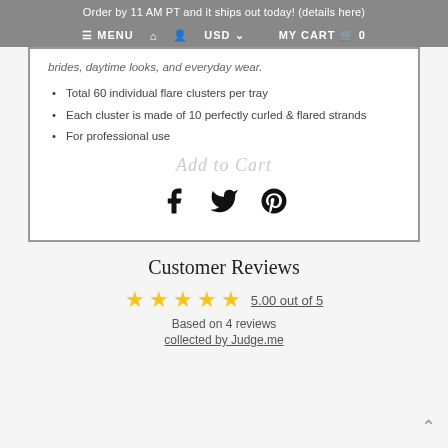Order by 11 AM PT and it ships out today! (details here)
≡ MENU  🏠  👤  USD ∨  MY CART 🛒 0
brides, daytime looks, and everyday wear.
Total 60 individual flare clusters per tray
Each cluster is made of 10 perfectly curled & flared strands
For professional use
[Figure (other): Social share icons: Facebook, Twitter, Pinterest]
Customer Reviews
5.00 out of 5
Based on 4 reviews
collected by Judge.me